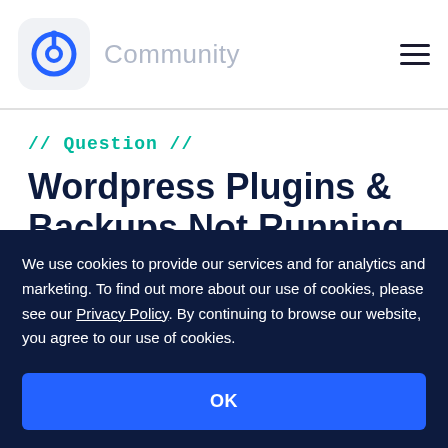Community
// Question //
Wordpress Plugins & Backups Not Running Quite Right
We use cookies to provide our services and for analytics and marketing. To find out more about our use of cookies, please see our Privacy Policy. By continuing to browse our website, you agree to our use of cookies.
OK